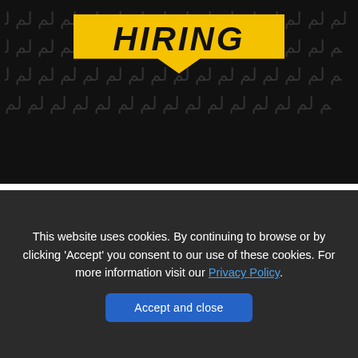[Figure (illustration): Dark background with repeated Arabic-like characters pattern and a yellow speech bubble banner with 'HIRING' text in bold black italic letters]
Mattox Family Funeral Home is a Other Consumer Products & Services company founded in 0 and specialized in the industry of Other Services (except Public Administration). The headquarters are in Riley.
[Figure (other): Red rounded rectangle button with 'APPLY HERE!' text in white uppercase bold letters]
This website uses cookies. By continuing to browse or by clicking 'Accept' you consent to our use of these cookies. For more information visit our Privacy Policy.
Accept and close